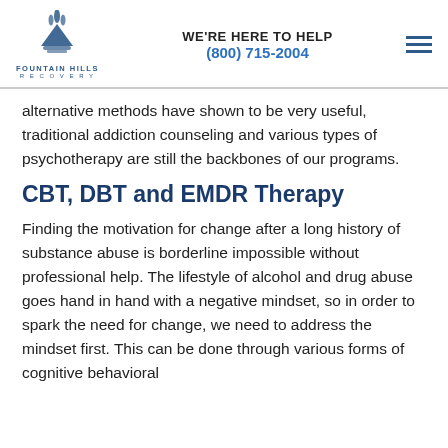FOUNTAIN HILLS RECOVERY | WE'RE HERE TO HELP (800) 715-2004
alternative methods have shown to be very useful, traditional addiction counseling and various types of psychotherapy are still the backbones of our programs.
CBT, DBT and EMDR Therapy
Finding the motivation for change after a long history of substance abuse is borderline impossible without professional help. The lifestyle of alcohol and drug abuse goes hand in hand with a negative mindset, so in order to spark the need for change, we need to address the mindset first. This can be done through various forms of cognitive behavioral